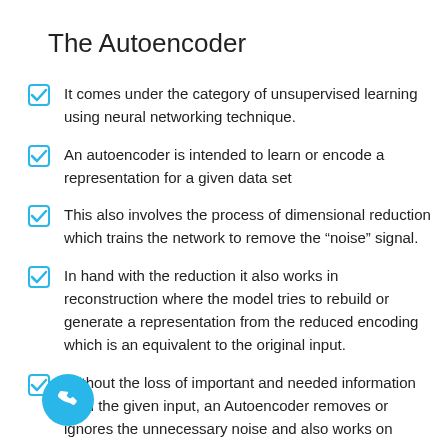The Autoencoder
It comes under the category of unsupervised learning using neural networking technique.
An autoencoder is intended to learn or encode a representation for a given data set
This also involves the process of dimensional reduction which trains the network to remove the “noise” signal.
In hand with the reduction it also works in reconstruction where the model tries to rebuild or generate a representation from the reduced encoding which is an equivalent to the original input.
Without the loss of important and needed information from the given input, an Autoencoder removes or ignores the unnecessary noise and also works on